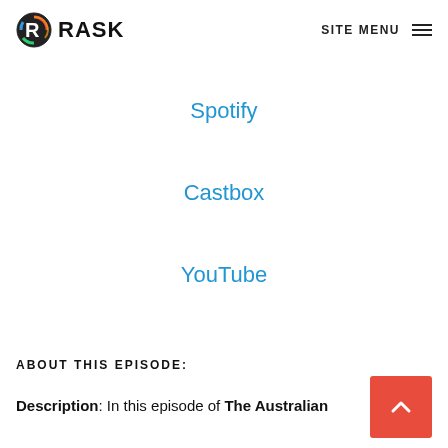RASK | SITE MENU
Spotify
Castbox
YouTube
ABOUT THIS EPISODE:
Description: In this episode of The Australian